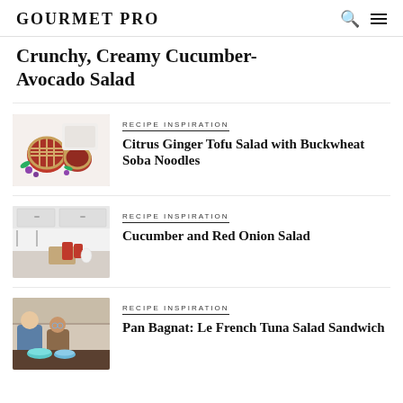GOURMET PRO
Crunchy, Creamy Cucumber-Avocado Salad
[Figure (photo): Berry pies with lattice crust on white background with flowers and berries]
RECIPE INSPIRATION
Citrus Ginger Tofu Salad with Buckwheat Soba Noodles
[Figure (photo): Modern white kitchen interior with cutting boards and red accents]
RECIPE INSPIRATION
Cucumber and Red Onion Salad
[Figure (photo): Two people cooking together in a kitchen with bowls]
RECIPE INSPIRATION
Pan Bagnat: Le French Tuna Salad Sandwich